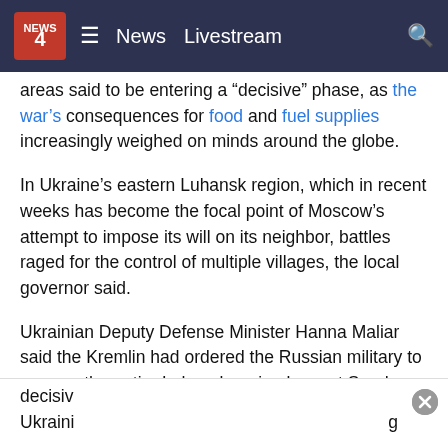News  Livestream
areas said to be entering a “decisive” phase, as the war’s consequences for food and fuel supplies increasingly weighed on minds around the globe.
In Ukraine’s eastern Luhansk region, which in recent weeks has become the focal point of Moscow’s attempt to impose its will on its neighbor, battles raged for the control of multiple villages, the local governor said.
Ukrainian Deputy Defense Minister Hanna Maliar said the Kremlin had ordered the Russian military to overrun the entire Luhansk region by next Sunday. Currently, Moscow’s forces control about 95% of the region.
Maliar said in televised remarks that “without exaggeration, decisiv[...] Ukraini[...] g